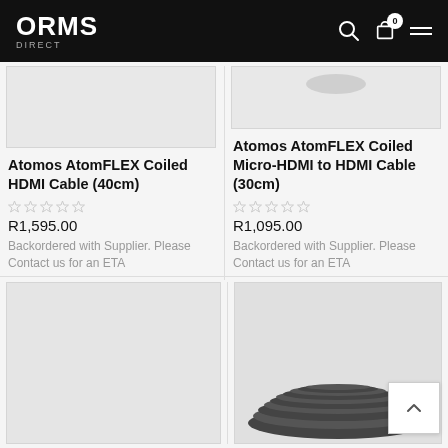ORMS DIRECT
[Figure (photo): Product image placeholder - Atomos AtomFLEX Coiled HDMI Cable (40cm), light gray background]
Atomos AtomFLEX Coiled HDMI Cable (40cm)
R1,595.00
Backordered with Supplier. Please Contact us for an ETA
[Figure (photo): Product image placeholder - Atomos AtomFLEX Coiled Micro-HDMI to HDMI Cable (30cm), light gray background with partial cable visible]
Atomos AtomFLEX Coiled Micro-HDMI to HDMI Cable (30cm)
R1,095.00
Backordered with Supplier. Please Contact us for an ETA
[Figure (photo): Product image placeholder bottom-left, light gray background]
[Figure (photo): Product image bottom-right with coiled black cable visible at bottom of frame]